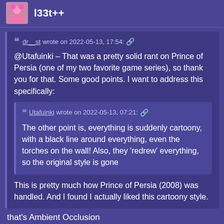l33t++
dr__st wrote on 2022-05-13, 17:54: @Utafuinki – That was a pretty solid rant on Prince of Persia (one of my two favorite game series), so thank you for that. Some good points. I want to address this specifically:
Utafuinki wrote on 2022-05-13, 07:21: The other point is, everything is suddenly cartoony, with a black line around everything, even the torches on the wall! Also, they 'redrew' everything, so the original style is gone
This is pretty much how Prince of Persia (2008) was handled. And I found I actually liked this cartoony style.
that's Ambient Occlusion